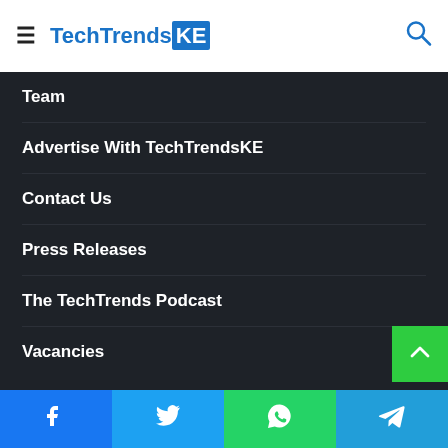TechTrendsKE
Team
Advertise With TechTrendsKE
Contact Us
Press Releases
The TechTrends Podcast
Vacancies
Facebook | Twitter | WhatsApp | Telegram